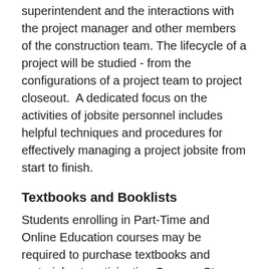superintendent and the interactions with the project manager and other members of the construction team. The lifecycle of a project will be studied - from the configurations of a project team to project closeout.  A dedicated focus on the activities of jobsite personnel includes helpful techniques and procedures for effectively managing a project jobsite from start to finish.
Textbooks and Booklists
Students enrolling in Part-Time and Online Education courses may be required to purchase textbooks and materials at participating Campus Store locations or online at bookstore.rrc.ca. Student booklists will be available approximately 3 weeks prior to scheduled course start dates. Please ensure materials are purchased in advance, to be available for the start